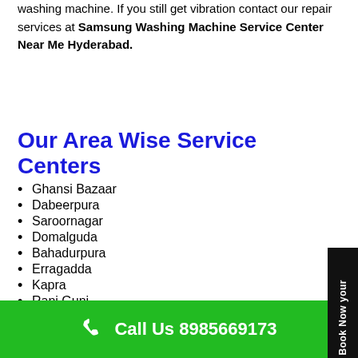washing machine. If you still get vibration contact our repair services at Samsung Washing Machine Service Center Near Me Hyderabad.
Our Area Wise Service Centers
Ghansi Bazaar
Dabeerpura
Saroornagar
Domalguda
Bahadurpura
Erragadda
Kapra
Rani Gunj
Call Us 8985669173